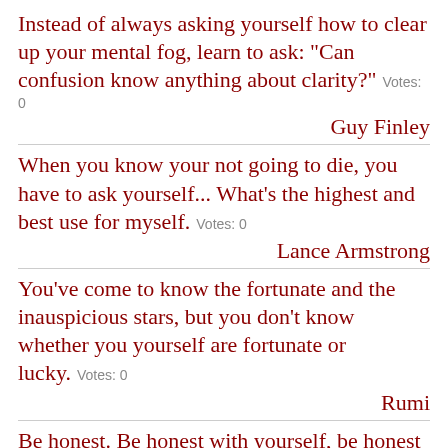Instead of always asking yourself how to clear up your mental fog, learn to ask: "Can confusion know anything about clarity?"  Votes: 0
Guy Finley
When you know your not going to die, you have to ask yourself... What's the highest and best use for myself.  Votes: 0
Lance Armstrong
You've come to know the fortunate and the inauspicious stars, but you don't know whether you yourself are fortunate or lucky.  Votes: 0
Rumi
Be honest. Be honest with yourself, be honest